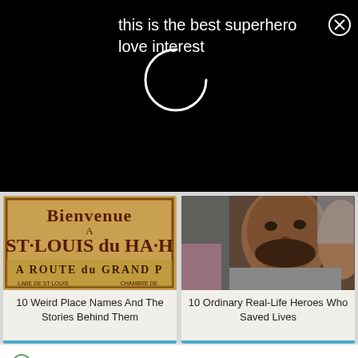this is the best superhero love interest
[Figure (screenshot): Vintage French road sign reading 'Bienvenue A ST-LOUIS du HA-H A ROUTE du GRAND P' with brown/tan background]
[Figure (photo): Close-up photo of a man with a beard looking at the camera, with another person partially visible behind him]
10 Weird Place Names And The Stories Behind Them
10 Ordinary Real-Life Heroes Who Saved Lives
fact checked by Jamie Frater